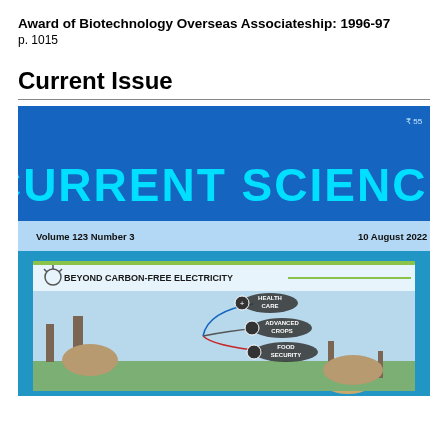Award of Biotechnology Overseas Associateship: 1996-97
p. 1015
Current Issue
[Figure (illustration): Cover of Current Science journal, Volume 123 Number 3, 10 August 2022. Blue cover with 'CURRENT SCIENCE' in large cyan bold letters. Below shows an infographic titled 'Beyond Carbon-Free Electricity' with a nuclear power plant and icons for Health Care, Advanced Crops, and Food Security connected by colored lines.]